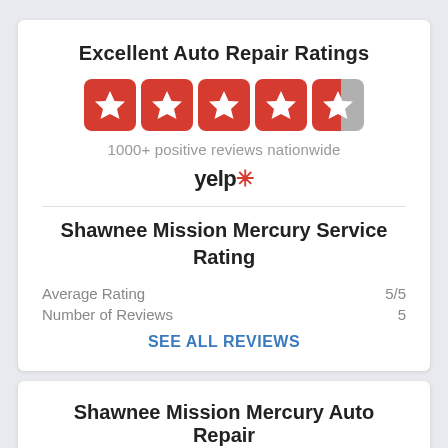Excellent Auto Repair Ratings
[Figure (other): 4.5 out of 5 stars rating shown as 4 full red star boxes and 1 half red/gray star box]
1000+ positive reviews nationwide
[Figure (logo): Yelp logo in black bold text with red burst icon]
Shawnee Mission Mercury Service Rating
Average Rating   5/5
Number of Reviews   5
SEE ALL REVIEWS
Shawnee Mission Mercury Auto Repair